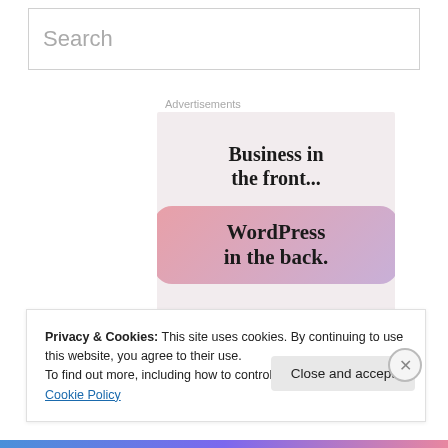Search
Advertisements
[Figure (illustration): WordPress advertisement banner reading 'Business in the front... WordPress in the back.' Top half has dark text on light pink background, bottom half has dark text on pink-to-purple gradient rounded card.]
Privacy & Cookies: This site uses cookies. By continuing to use this website, you agree to their use.
To find out more, including how to control cookies, see here: Cookie Policy